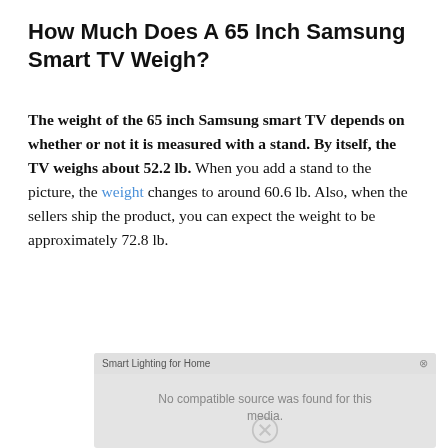How Much Does A 65 Inch Samsung Smart TV Weigh?
The weight of the 65 inch Samsung smart TV depends on whether or not it is measured with a stand. By itself, the TV weighs about 52.2 lb. When you add a stand to the picture, the weight changes to around 60.6 lb. Also, when the sellers ship the product, you can expect the weight to be approximately 72.8 lb.
[Figure (screenshot): Video media player placeholder showing 'Smart Lighting for Home' title bar with close button and message 'No compatible source was found for this media.' with a broken media icon.]